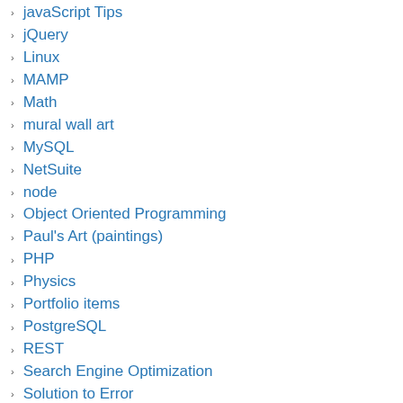javaScript Tips
jQuery
Linux
MAMP
Math
mural wall art
MySQL
NetSuite
node
Object Oriented Programming
Paul's Art (paintings)
PHP
Physics
Portfolio items
PostgreSQL
REST
Search Engine Optimization
Solution to Error